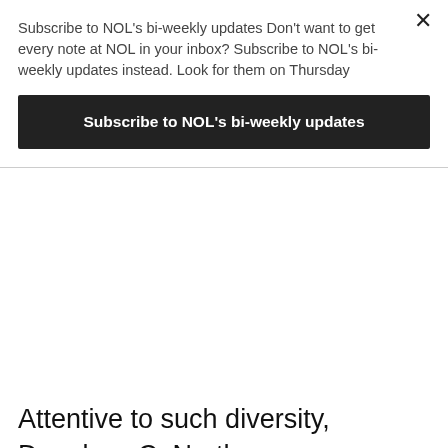Subscribe to NOL's bi-weekly updates Don't want to get every note at NOL in your inbox? Subscribe to NOL's bi-weekly updates instead. Look for them on Thursday
Subscribe to NOL's bi-weekly updates
Attentive to such diversity, Douglass C. North groups institutions in formal and informal. Within the formal institutions we find, unquestionably, the positive law, in which its rules of formation and transformation of the statements that articulate them can be identified very clearly. In a modern democracy, laws are sanctioned by the legislative body of the State. Meanwhile, the rules of formation